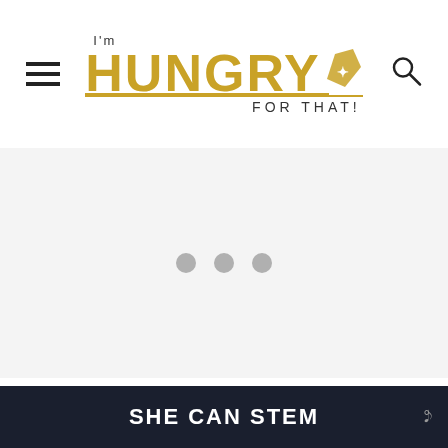I'm HUNGRY FOR THAT!
[Figure (other): Advertisement placeholder area with three gray dots indicating loading or placeholder content]
So all you have to do is prep the dip - which is beyond easy - and then let the oven do th...
SHE CAN STEM